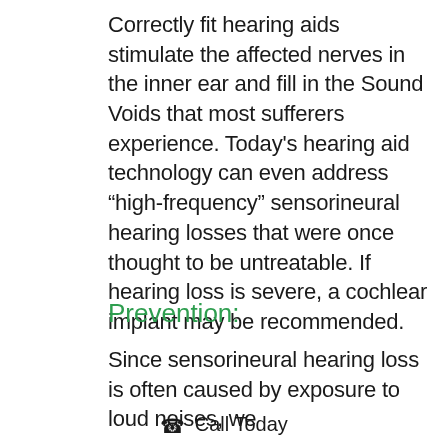Correctly fit hearing aids stimulate the affected nerves in the inner ear and fill in the Sound Voids that most sufferers experience. Today's hearing aid technology can even address “high-frequency” sensorineural hearing losses that were once thought to be untreatable. If hearing loss is severe, a cochlear implant may be recommended.
Prevention:
Since sensorineural hearing loss is often caused by exposure to loud noises, we
☎ Call Today